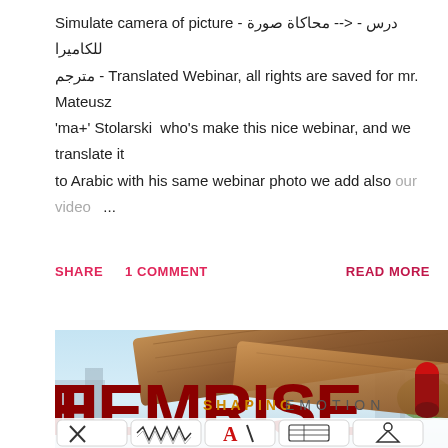Simulate camera of picture - درس - <-- محاكاة صورة للكاميرا - مترجم - Translated Webinar, all rights are saved for mr. Mateusz 'ma+' Stolarski who's make this nice webinar, and we translate it to Arabic with his same webinar photo we add also our video ...
SHARE   1 COMMENT   READ MORE
[Figure (photo): THEMRISE brand image showing wooden beams/logs, a city background, large dark red bold logo text reading THEMRISE, subtitle SHAPING EMOTIONS in orange/grey, and a row of small icon boxes at the bottom]